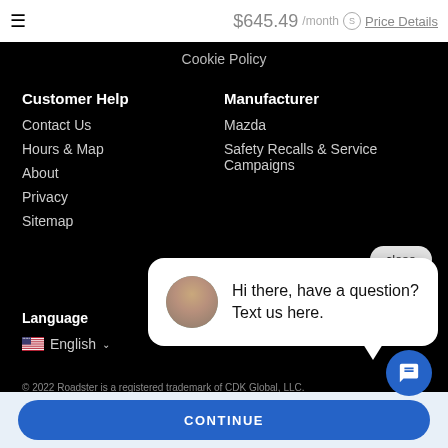$645.49 /month  Price Details
Cookie Policy
Customer Help
Contact Us
Hours & Map
About
Privacy
Sitemap
Manufacturer
Mazda
Safety Recalls & Service Campaigns
Language
English
Hi there, have a question? Text us here.
© 2022 Roadster is a registered trademark of CDK Global, LLC.
CONTINUE